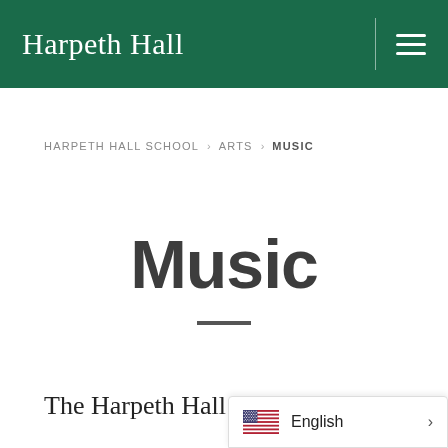Harpeth Hall
HARPETH HALL SCHOOL > ARTS > MUSIC
Music
The Harpeth Hall mus